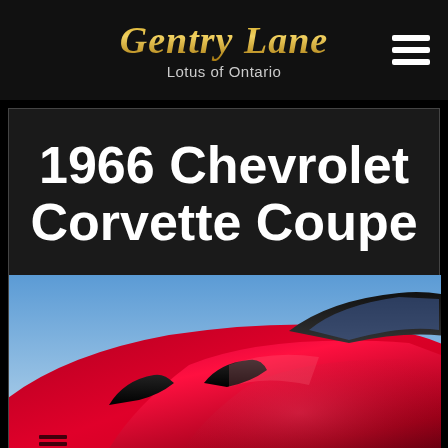Gentry Lane
Lotus of Ontario
1966 Chevrolet Corvette Coupe
[Figure (photo): Close-up photo of a red 1966 Chevrolet Corvette Coupe showing the hood, fenders, and roof from a low angle. The car is bright red with chrome details. Background shows a light sky and trees.]